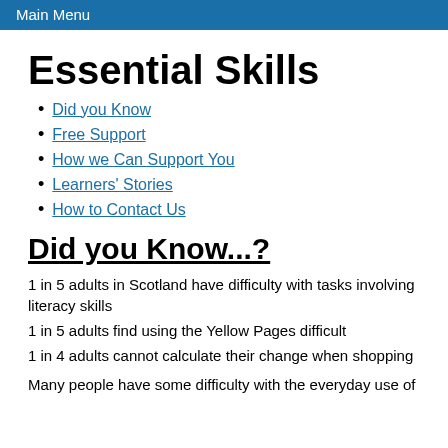Main Menu
Essential Skills
Did you Know
Free Support
How we Can Support You
Learners' Stories
How to Contact Us
Did you Know...?
1 in 5 adults in Scotland have difficulty with tasks involving literacy skills
1 in 5 adults find using the Yellow Pages difficult
1 in 4 adults cannot calculate their change when shopping
Many people have some difficulty with the everyday use of